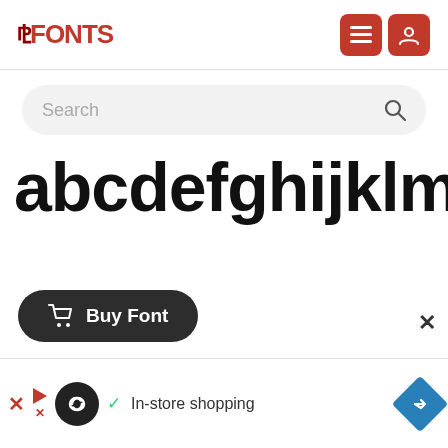FFONTS
Search
[Figure (screenshot): Large bold sans-serif font preview showing lowercase letters: abcdefghijklm]
Buy Font
[Figure (infographic): Advertisement banner with infinity logo, checkmark, In-store shopping text, and navigation arrow diamond icon]